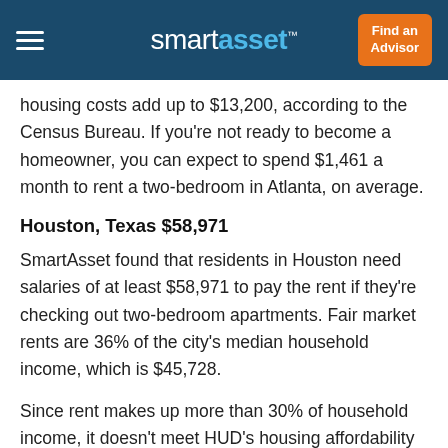smartasset™ | Find an Advisor
housing costs add up to $13,200, according to the Census Bureau. If you're not ready to become a homeowner, you can expect to spend $1,461 a month to rent a two-bedroom in Atlanta, on average.
Houston, Texas $58,971
SmartAsset found that residents in Houston need salaries of at least $58,971 to pay the rent if they're checking out two-bedroom apartments. Fair market rents are 36% of the city's median household income, which is $45,728.
Since rent makes up more than 30% of household income, it doesn't meet HUD's housing affordability standard. But Houston is more affordable than both Dallas and Austin,